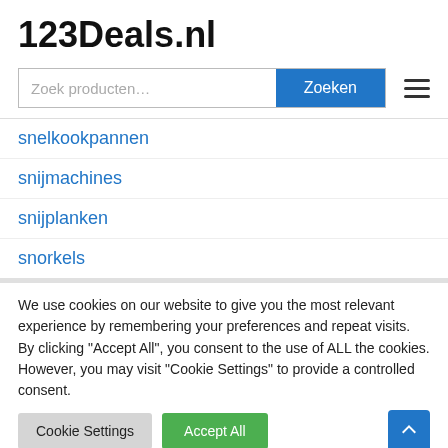123Deals.nl
[Figure (screenshot): Search bar with placeholder 'Zoek producten...' and blue 'Zoeken' button, plus hamburger menu icon]
snelkookpannen
snijmachines
snijplanken
snorkels
We use cookies on our website to give you the most relevant experience by remembering your preferences and repeat visits. By clicking "Accept All", you consent to the use of ALL the cookies. However, you may visit "Cookie Settings" to provide a controlled consent.